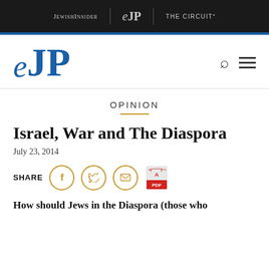JEWISHINSIDER | eJP | THE CIRCUIT•
[Figure (logo): eJP logo in blue with italic e and bold JP]
OPINION
Israel, War and The Diaspora
July 23, 2014
SHARE [Facebook] [Twitter] [Email] [PDF]
How should Jews in the Diaspora (those who